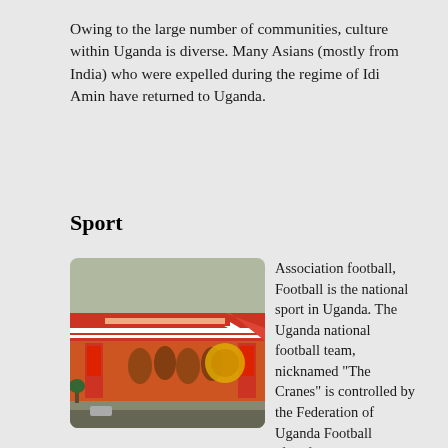Owing to the large number of communities, culture within Uganda is diverse. Many Asians (mostly from India) who were expelled during the regime of Idi Amin have returned to Uganda.
Sport
[Figure (photo): Mandela National Stadium exterior showing red and yellow facade with murals and signage]
Association football, Football is the national sport in Uganda. The Uganda national football team, nicknamed "The Cranes" is controlled by the Federation of Uganda Football Associations. They have never qualified for the FIFA World Cup finals. Their best finish in the African Cup of Nations was second in 1978 African Cup of